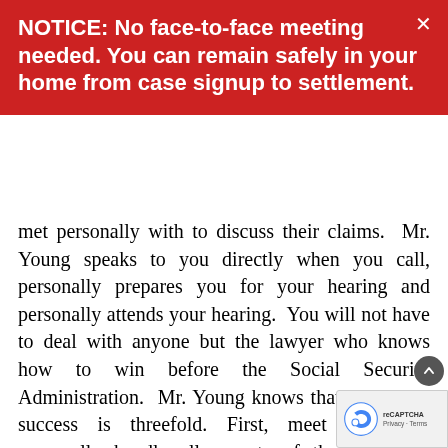NOTICE: No face-to-face meeting needed. You can remain safely in your home from case signup to settlement.
met personally with to discuss their claims. Mr. Young speaks to you directly when you call, personally prepares you for your hearing and personally attends your hearing. You will not have to deal with anyone but the lawyer who knows how to win before the Social Security Administration. Mr. Young knows that the key to success is threefold. First, meet with and personally handle all aspects of the claimant's claim. Second, know, inside and out the rules, regulations and procedures of the Administration. Mr. Young has mastered these over the twenty two years he has represented Hoosier claimants. Third, be pre... Thoroughly interview the client about their dis... Obtain each and every piece of evidence and provide